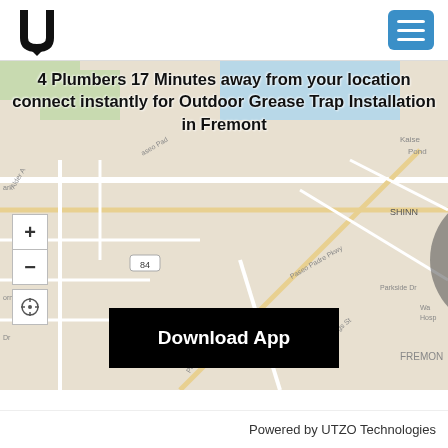[Figure (logo): U-shaped logo (letter U with pointed bottom) in black]
[Figure (other): Blue hamburger menu button with three white lines]
[Figure (map): Street map of Fremont area showing Peralta Blvd, Paseo Padre Pkwy, Highway 84, and surrounding streets with a plumber truck icon overlay and circular marker]
4 Plumbers 17 Minutes away from your location connect instantly for Outdoor Grease Trap Installation in Fremont
Download App
Powered by UTZO Technologies